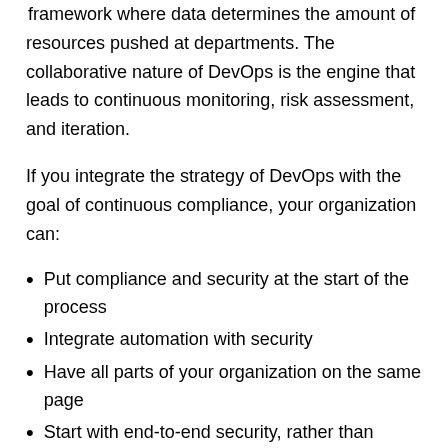always taken, supporting the creation of a dynamic framework where data determines the amount of resources pushed at departments. The collaborative nature of DevOps is the engine that leads to continuous monitoring, risk assessment, and iteration.
If you integrate the strategy of DevOps with the goal of continuous compliance, your organization can:
Put compliance and security at the start of the process
Integrate automation with security
Have all parts of your organization on the same page
Start with end-to-end security, rather than move toward this goal
Foster development and iteration while retaining governance